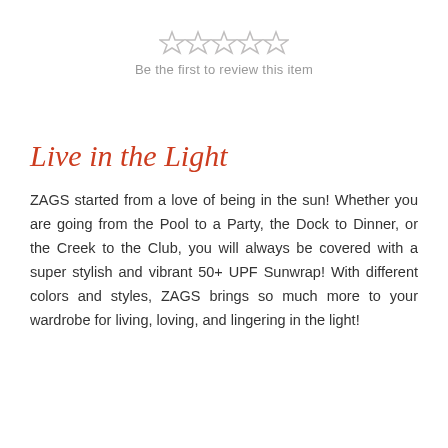[Figure (other): Five empty star icons in a row indicating a rating widget with no reviews]
Be the first to review this item
Live in the Light
ZAGS started from a love of being in the sun! Whether you are going from the Pool to a Party, the Dock to Dinner, or the Creek to the Club, you will always be covered with a super stylish and vibrant 50+ UPF Sunwrap! With different colors and styles, ZAGS brings so much more to your wardrobe for living, loving, and lingering in the light!